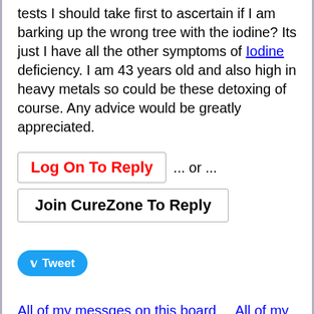tests I should take first to ascertain if I am barking up the wrong tree with the iodine? Its just I have all the other symptoms of Iodine deficiency. I am 43 years old and also high in heavy metals so could be these detoxing of course. Any advice would be greatly appreciated.
Log On To Reply ... or ... Join CureZone To Reply
Tweet
All of my messges on this board    All of my messges anywhere